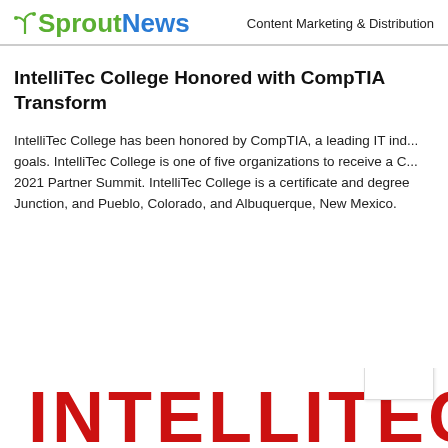SproutNews — Content Marketing & Distribution
IntelliTec College Honored with CompTIA Transform
IntelliTec College has been honored by CompTIA, a leading IT industry association, for demonstrating excellence in workforce training goals. IntelliTec College is one of five organizations to receive a CompTIA Transformation Award, presented at the 2021 Partner Summit. IntelliTec College is a certificate and degree granting institution with locations in Colorado Springs, Grand Junction, and Pueblo, Colorado, and Albuquerque, New Mexico.
[Figure (logo): IntelliTec College logo with large red text spelling INTELLITEC, partially visible at bottom of page]